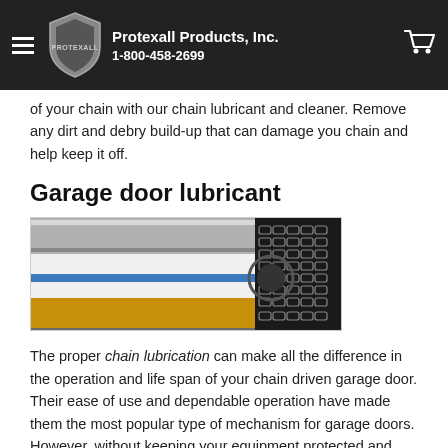Protexall Products, Inc. | 1-800-458-2699
also has to support you as you navigate through punishing conditions that the proper operation of your chain with our chain lubricant and cleaner. Remove any dirt and debry build-up that can damage you chain and help keep it off.
Garage door lubricant
[Figure (photo): Close-up photo of a garage door spring/chain mechanism with metallic rod and chain links visible]
The proper chain lubrication can make all the difference in the operation and life span of your chain driven garage door. Their ease of use and dependable operation have made them the most popular type of mechanism for garage doors. However, without keeping your equipment protected and well lubricated, occasional maintenance cannot be avoided.